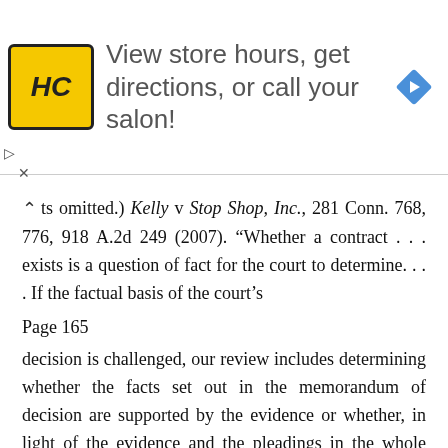[Figure (infographic): Advertisement banner: HC logo on yellow background, text 'View store hours, get directions, or call your salon!', blue navigation diamond icon]
ts omitted.) Kelly v Stop Shop, Inc., 281 Conn. 768, 776, 918 A.2d 249 (2007). "Whether a contract . . . exists is a question of fact for the court to determine. . . . If the factual basis of the court's
Page 165
decision is challenged, our review includes determining whether the facts set out in the memorandum of decision are supported by the evidence or whether, in light of the evidence and the pleadings in the whole record, those facts are clearly erroneous." (Internal quotation marks omitted.) Baron v Culver Associates, LLC, 106